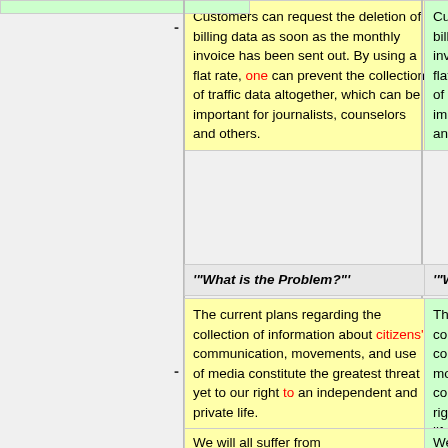Customers can request the deletion of billing data as soon as the monthly invoice has been sent out. By using a flat rate, one can prevent the collection of traffic data altogether, which can be important for journalists, counselors and others.
Customers can request the deletion of billing data as soon as the monthly invoice has been sent out. By using a flat rate, you can prevent the collection of traffic data altogether, which can be important for journalists, counselors and others.
'"What is the Problem?"'
'"What is the Problem?"'
The current plans regarding the collection of information about citizens' communication, movements, and use of media constitute the greatest threat yet to our right to an independent and private life.
The current plans regarding the collection of information about communication of citizens, movements, and use of media constitute the greatest threat yet to our right for an independent and private life.
We will all suffer from
We will all suffer from